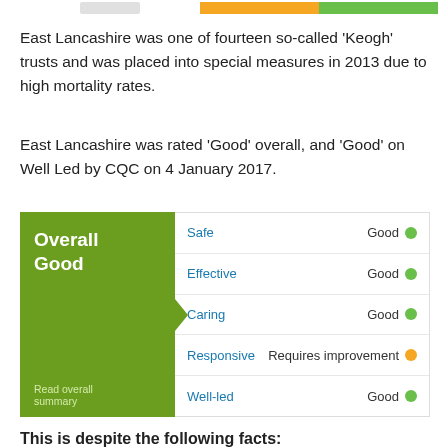[Figure (infographic): Partial bar at top of page showing orange and green segments]
East Lancashire was one of fourteen so-called 'Keogh' trusts and was placed into special measures in 2013 due to high mortality rates.
East Lancashire was rated 'Good' overall, and 'Good' on Well Led by CQC on 4 January 2017.
[Figure (infographic): CQC rating widget showing Overall Good on left green panel with arrow, and ratings: Safe Good, Effective Good, Caring Good, Responsive Requires improvement, Well-led Good]
This is despite the following facts:
East Lancashire sacked and referred NHS surgeon whistleblower Aditya Agrawal to the GMC, with